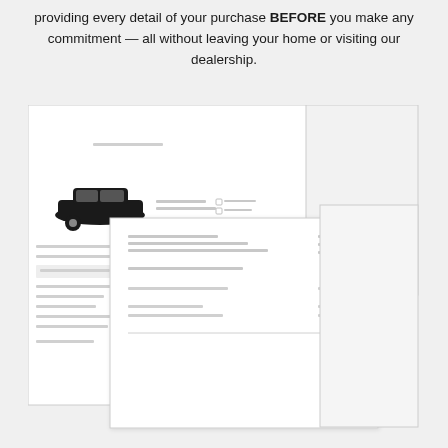providing every detail of your purchase BEFORE you make any commitment — all without leaving your home or visiting our dealership.
[Figure (illustration): Illustration of overlapping document pages showing a car purchase summary sheet with a black sedan silhouette, rows of text lines, and financial/detail line items representing a dealership purchase document.]